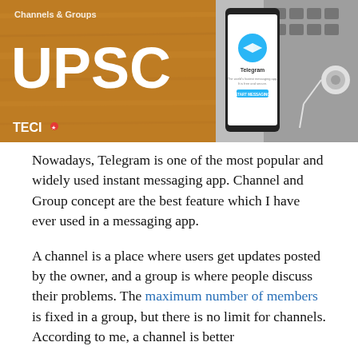[Figure (photo): Banner image showing a wooden background with bold white text 'UPSC' and 'Channels & Groups', a smartphone displaying the Telegram app with a 'START MESSAGING' button, earphones, and a laptop keyboard. TECI logo in the bottom left.]
Nowadays, Telegram is one of the most popular and widely used instant messaging app. Channel and Group concept are the best feature which I have ever used in a messaging app.
A channel is a place where users get updates posted by the owner, and a group is where people discuss their problems. The maximum number of members is fixed in a group, but there is no limit for channels. According to me, a channel is better